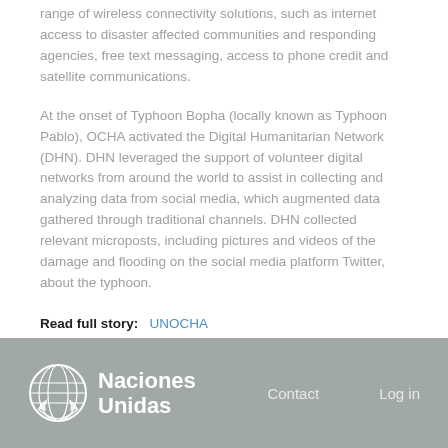range of wireless connectivity solutions, such as internet access to disaster affected communities and responding agencies, free text messaging, access to phone credit and satellite communications.
At the onset of Typhoon Bopha (locally known as Typhoon Pablo), OCHA activated the Digital Humanitarian Network (DHN). DHN leveraged the support of volunteer digital networks from around the world to assist in collecting and analyzing data from social media, which augmented data gathered through traditional channels. DHN collected relevant microposts, including pictures and videos of the damage and flooding on the social media platform Twitter, about the typhoon.
Read full story: UNOCHA | Publishing Date: Fri, 09/06/2013 - 08:45 | Country/Region: Philippines
Naciones Unidas | Contact | Log in